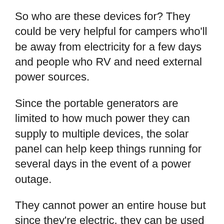So who are these devices for? They could be very helpful for campers who'll be away from electricity for a few days and people who RV and need external power sources.
Since the portable generators are limited to how much power they can supply to multiple devices, the solar panel can help keep things running for several days in the event of a power outage.
They cannot power an entire house but since they're electric, they can be used inside. I also found these portable generators to be quiet and they charge quickly.
The generators can also be used as an uninterrupted power source for life-saving